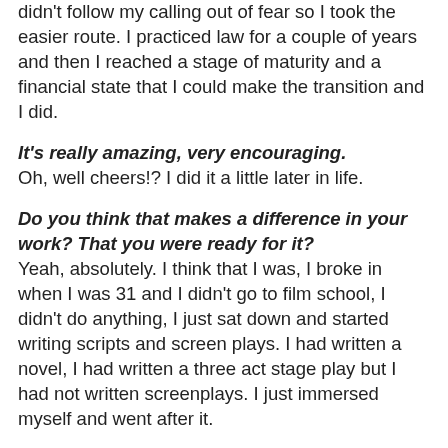didn't follow my calling out of fear so I took the easier route. I practiced law for a couple of years and then I reached a stage of maturity and a financial state that I could make the transition and I did.
It's really amazing, very encouraging.
Oh, well cheers!? I did it a little later in life.
Do you think that makes a difference in your work? That you were ready for it?
Yeah, absolutely. I think that I was, I broke in when I was 31 and I didn't go to film school, I didn't do anything, I just sat down and started writing scripts and screen plays. I had written a novel, I had written a three act stage play but I had not written screenplays. I just immersed myself and went after it.
How much did you think about the genre of gangster films while working on this because this film sort of fits in the genre in an interesting way? When I was thinking about the movie Goodfellas certainly came to mind but Kill The Irishman has its own place in this blue collar,